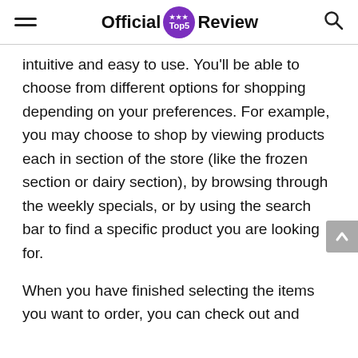Official Top5 Review
intuitive and easy to use. You'll be able to choose from different options for shopping depending on your preferences. For example, you may choose to shop by viewing products each in section of the store (like the frozen section or dairy section), by browsing through the weekly specials, or by using the search bar to find a specific product you are looking for.
When you have finished selecting the items you want to order, you can check out and select a delivery or pick-up time. If ...